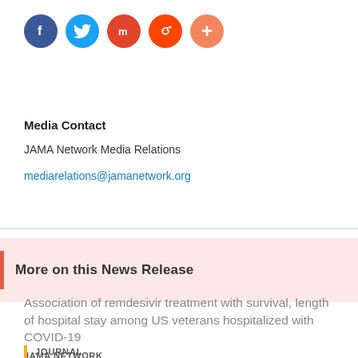[Figure (other): Row of social media share buttons: Facebook (dark blue), Twitter (light blue), Mix (dark red-orange), Reddit (orange-red), and a plus/more button (salmon)]
Media Contact
JAMA Network Media Relations
mediarelations@jamanetwork.org
More on this News Release
Association of remdesivir treatment with survival, length of hospital stay among US veterans hospitalized with COVID-19
JAMA NETWORK
JOURNAL